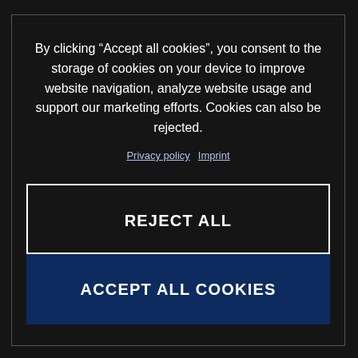[Figure (screenshot): Dark background with faded mechanical/industrial imagery visible behind the cookie consent modal.]
By clicking “Accept all cookies”, you consent to the storage of cookies on your device to improve website navigation, analyze website usage and support our marketing efforts. Cookies can also be rejected.
Privacy policy  Imprint
REJECT ALL
ACCEPT ALL COOKIES